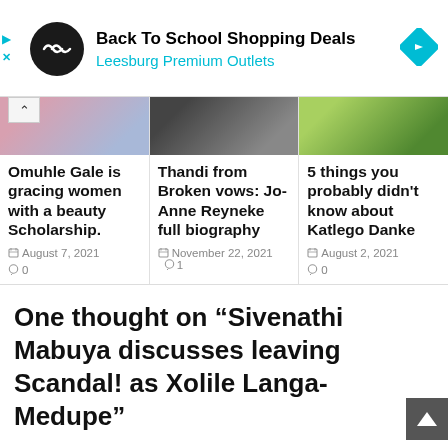[Figure (other): Ad banner: Back To School Shopping Deals - Leesburg Premium Outlets, with logo and arrow icon]
[Figure (photo): Three article cards with photos: Omuhle Gale beauty scholarship, Thandi from Broken Vows Jo-Anne Reyneke biography, 5 things about Katlego Danke]
Omuhle Gale is gracing women with a beauty Scholarship.
August 7, 2021  0
Thandi from Broken vows: Jo-Anne Reyneke full biography
November 22, 2021  1
5 things you probably didn't know about Katlego Danke
August 2, 2021  0
One thought on “Sivenathi Mabuya discusses leaving Scandal! as Xolile Langa-Medupe”